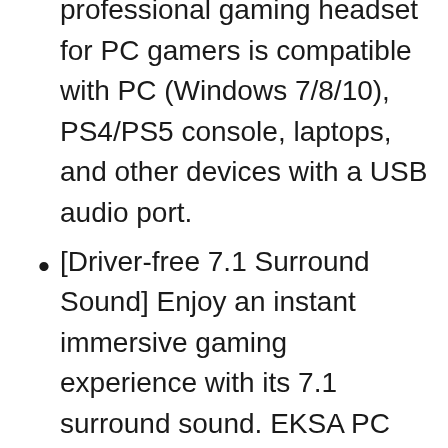professional gaming headset for PC gamers is compatible with PC (Windows 7/8/10), PS4/PS5 console, laptops, and other devices with a USB audio port.
[Driver-free 7.1 Surround Sound] Enjoy an instant immersive gaming experience with its 7.1 surround sound. EKSA PC gaming headset has a built-in USB audio sound chip and 50mm magnetic neodymium driver that gives you a vivid surrounding sound field. No extra downloads or hassle to get the best experience, just plug and play